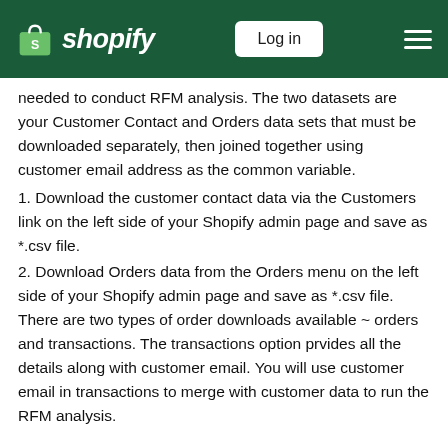Shopify — Log in
needed to conduct RFM analysis.  The two datasets are your Customer Contact and Orders data sets that must be downloaded separately, then joined together using customer email address as the common variable.
1. Download the customer contact data via the Customers link on the left side of your Shopify admin page and save as *.csv file.
2. Download Orders data from the Orders menu on the left side of your Shopify admin page and save as *.csv file. There are two types of order downloads available ~ orders and transactions.  The transactions option prvides all the details along with customer email.  You will use customer email in transactions to merge with customer data to run the RFM analysis.